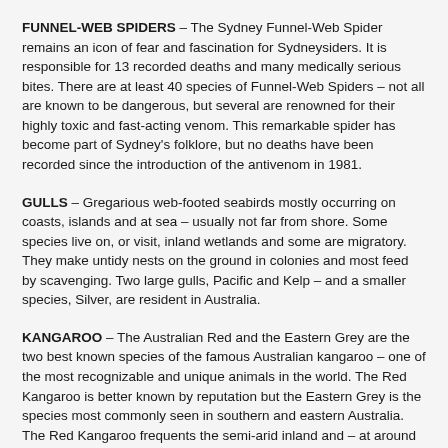FUNNEL-WEB SPIDERS – The Sydney Funnel-Web Spider remains an icon of fear and fascination for Sydneysiders. It is responsible for 13 recorded deaths and many medically serious bites. There are at least 40 species of Funnel-Web Spiders – not all are known to be dangerous, but several are renowned for their highly toxic and fast-acting venom. This remarkable spider has become part of Sydney's folklore, but no deaths have been recorded since the introduction of the antivenom in 1981.
GULLS – Gregarious web-footed seabirds mostly occurring on coasts, islands and at sea – usually not far from shore. Some species live on, or visit, inland wetlands and some are migratory. They make untidy nests on the ground in colonies and most feed by scavenging. Two large gulls, Pacific and Kelp – and a smaller species, Silver, are resident in Australia.
KANGAROO – The Australian Red and the Eastern Grey are the two best known species of the famous Australian kangaroo – one of the most recognizable and unique animals in the world. The Red Kangaroo is better known by reputation but the Eastern Grey is the species most commonly seen in southern and eastern Australia. The Red Kangaroo frequents the semi-arid inland and – at around 85 kg – is significantly larger than the 65 kg two metre tall Eastern Gray. Both marsupials graze on a variety of grasses but the Red Kangaroo includes significant amounts of shrubs in its diet. Kangaroos are a most unique animal